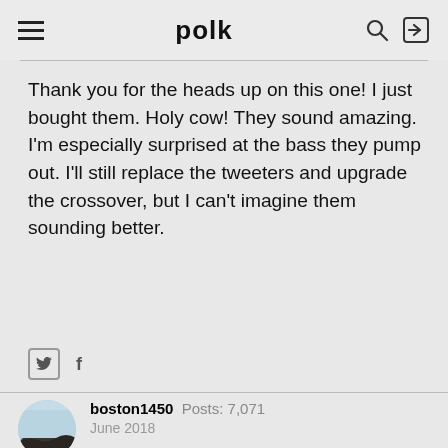polk
Thank you for the heads up on this one! I just bought them. Holy cow! They sound amazing. I'm especially surprised at the bass they pump out. I'll still replace the tweeters and upgrade the crossover, but I can't imagine them sounding better.
boston1450  Posts: 7,071  June 2018
Congrats